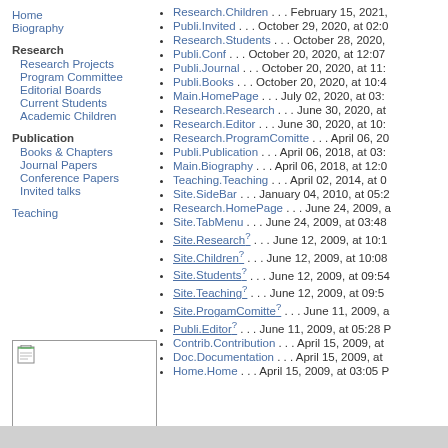Home
Biography
Research
Research Projects
Program Committee
Editorial Boards
Current Students
Academic Children
Publication
Books & Chapters
Journal Papers
Conference Papers
Invited talks
Teaching
[Figure (photo): Small image placeholder with file icon]
Research.Children . . . February 15, 2021,
Publi.Invited . . . October 29, 2020, at 02:0
Research.Students . . . October 28, 2020,
Publi.Conf . . . October 20, 2020, at 12:07
Publi.Journal . . . October 20, 2020, at 11:
Publi.Books . . . October 20, 2020, at 10:4
Main.HomePage . . . July 02, 2020, at 03:
Research.Research . . . June 30, 2020, at
Research.Editor . . . June 30, 2020, at 10:
Research.ProgramComitte . . . April 06, 20
Publi.Publication . . . April 06, 2018, at 03:
Main.Biography . . . April 06, 2018, at 12:0
Teaching.Teaching . . . April 02, 2014, at 0
Site.SideBar . . . January 04, 2010, at 05:2
Research.HomePage . . . June 24, 2009, a
Site.TabMenu . . . June 24, 2009, at 03:48
Site.Research? . . . June 12, 2009, at 10:1
Site.Children? . . . June 12, 2009, at 10:08
Site.Students? . . . June 12, 2009, at 09:54
Site.Teaching? . . . June 12, 2009, at 09:5
Site.ProgamComitte? . . . June 11, 2009, a
Publi.Editor? . . . June 11, 2009, at 05:28 P
Contrib.Contribution . . . April 15, 2009, at
Doc.Documentation . . . April 15, 2009, at
Home.Home . . . April 15, 2009, at 03:05 P